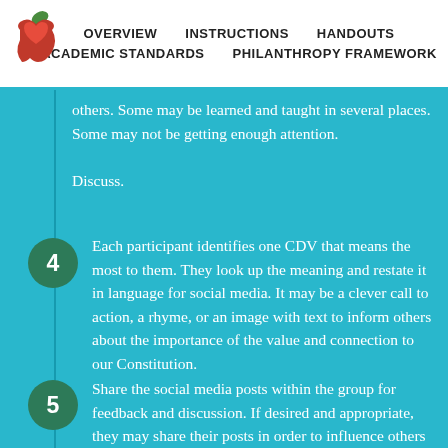OVERVIEW  INSTRUCTIONS  HANDOUTS  ACADEMIC STANDARDS  PHILANTHROPY FRAMEWORK
others. Some may be learned and taught in several places. Some may not be getting enough attention.

Discuss.
4. Each participant identifies one CDV that means the most to them. They look up the meaning and restate it in language for social media. It may be a clever call to action, a rhyme, or an image with text to inform others about the importance of the value and connection to our Constitution.
5. Share the social media posts within the group for feedback and discussion. If desired and appropriate, they may share their posts in order to influence others about the CDVs.